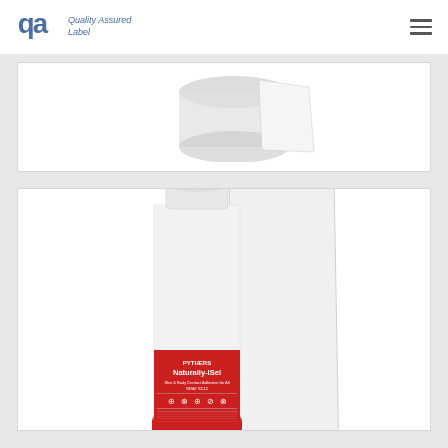Quality Assured Label
[Figure (photo): Partial product image at top, partially cropped, showing what appears to be a label roll product on white background]
[Figure (photo): Spray can with red label reading 'PYTHERS Naturally-ISel' with hazard symbols, alongside a white rectangular label/sheet, on white background]